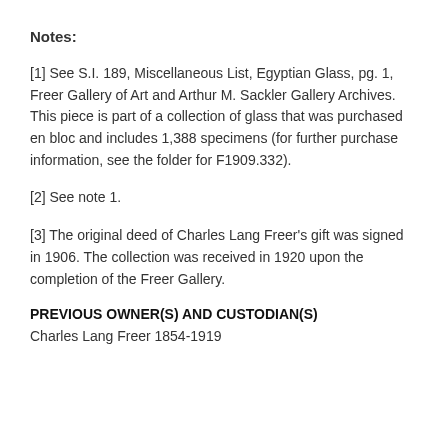Notes:
[1] See S.I. 189, Miscellaneous List, Egyptian Glass, pg. 1, Freer Gallery of Art and Arthur M. Sackler Gallery Archives. This piece is part of a collection of glass that was purchased en bloc and includes 1,388 specimens (for further purchase information, see the folder for F1909.332).
[2] See note 1.
[3] The original deed of Charles Lang Freer's gift was signed in 1906. The collection was received in 1920 upon the completion of the Freer Gallery.
PREVIOUS OWNER(S) AND CUSTODIAN(S)
Charles Lang Freer 1854-1919